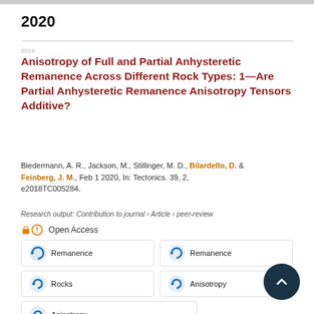2020
Anisotropy of Full and Partial Anhysteretic Remanence Across Different Rock Types: 1—Are Partial Anhysteretic Remanence Anisotropy Tensors Additive?
Biedermann, A. R., Jackson, M., Stillinger, M. D., Bilardello, D. & Feinberg, J. M., Feb 1 2020, In: Tectonics. 39, 2, e2018TC005284.
Research output: Contribution to journal › Article › peer-review
Open Access
Remanence
Remanence
Rocks
Anisotropy
Anisotropy